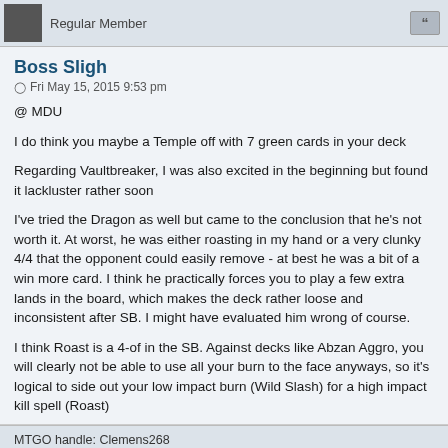Regular Member
Boss Sligh
Fri May 15, 2015 9:53 pm
@ MDU
I do think you maybe a Temple off with 7 green cards in your deck
Regarding Vaultbreaker, I was also excited in the beginning but found it lackluster rather soon
I've tried the Dragon as well but came to the conclusion that he's not worth it. At worst, he was either roasting in my hand or a very clunky 4/4 that the opponent could easily remove - at best he was a bit of a win more card. I think he practically forces you to play a few extra lands in the board, which makes the deck rather loose and inconsistent after SB. I might have evaluated him wrong of course.
I think Roast is a 4-of in the SB. Against decks like Abzan Aggro, you will clearly not be able to use all your burn to the face anyways, so it's logical to side out your low impact burn (Wild Slash) for a high impact kill spell (Roast)
MTGO handle: Clemens268